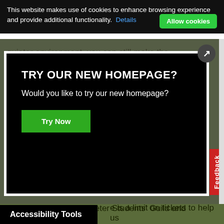This website makes use of cookies to enhance browsing experience and provide additional functionality. Details
quieter environment, you can still make the most of the Fair. There is limited capacity for
[Figure (screenshot): Modal dialog with black background on a dimmed overlay. Title reads 'TRY OUR NEW HOMEPAGE?' with subtitle 'Would you like to try our new homepage?' and a green 'Try Now' button. A circular close button (X with arrow) is in the top right corner. A red 'Feedback' vertical tab appears on the right edge.]
University of Exeter, Exeter Students' Guild and the Athletic Union.
e is a limit on tickets to help us
Accessibility Tools